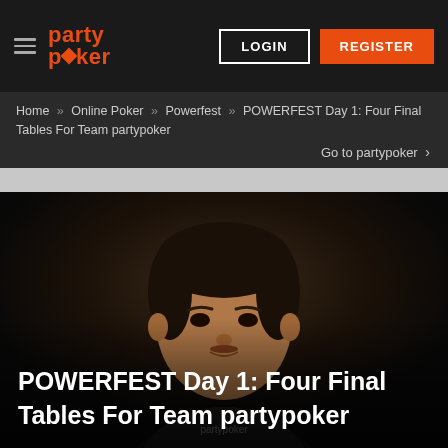party poker — LOGIN | REGISTER
Home » Online Poker » Powerfest » POWERFEST Day 1: Four Final Tables For Team partypoker
Go to partypoker ›
[Figure (photo): Photo of a man seated at a poker table wearing a partypoker branded shirt, with the overlay title text 'POWERFEST Day 1: Four Final Tables For Team partypoker']
POWERFEST Day 1: Four Final Tables For Team partypoker